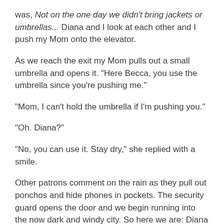was, Not on the one day we didn't bring jackets or umbrellas... Diana and I look at each other and I push my Mom onto the elevator.
As we reach the exit my Mom pulls out a small umbrella and opens it. "Here Becca, you use the umbrella since you're pushing me."
"Mom, I can't hold the umbrella if I'm pushing you."
"Oh. Diana?"
"No, you can use it. Stay dry," she replied with a smile.
Other patrons comment on the rain as they pull out ponchos and hide phones in pockets. The security guard opens the door and we begin running into the now dark and windy city. So here we are: Diana running ahead while navigating on Google Maps to find the nearest subway entrance. My Mom is sitting in the